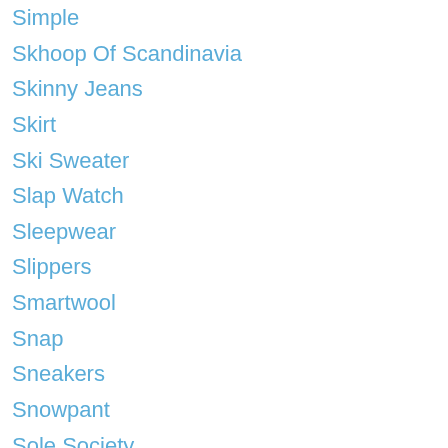Simple
Skhoop Of Scandinavia
Skinny Jeans
Skirt
Ski Sweater
Slap Watch
Sleepwear
Slippers
Smartwool
Snap
Sneakers
Snowpant
Sole Society
Somerset
Soul Haus
Splendid
Sports Bra
Spring
Statement Necklace
Stella And Dot
Stripe